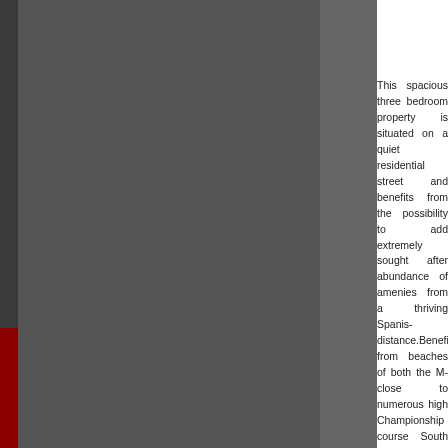This spacious three bedroom property is situated on a quiet residential street and benefits from a loft conversion with the possibility to add a staircase to make it habitable. Situated in an extremely sought after area of Marbella it benefits from an abundance of amenities on its doorstep, within walking distance from a thriving Spanish town and beach within walking distance.Benefits from being just a short drive to the beautiful beaches of both the Mediterranean and the Atlantic, it is also close to numerous high-end golf courses, some with a Championship course status.The property briefly comprises: South facing front terrace, bright and spacious lounge, internal accommodation includes: Large bedroom to the rear of the property with fitted wardrobes, double bed, headboard including reading lights, bedside tables and air-conditioning.Bedroom two to the rear also, furnished with two single beds and air-conditioning.Bedroom three situated to the property with fitted wardrobes and air-conditioning. Fully tiled bathroom including bath with shower screens, wash basin, wc, heated towel rail, electric heater and a skylight. A lovely lounge/dining room to the front of the property furnished with sofas, throw and scatter cushions, small coffee table, side table, dining table with large rug, wall mounted TV and air-conditioning unit. Air-conditioning unit fitted to all rooms. A sun terrace to the rear of the property with patio furniture. Potential to create a lovely kitchen diner.